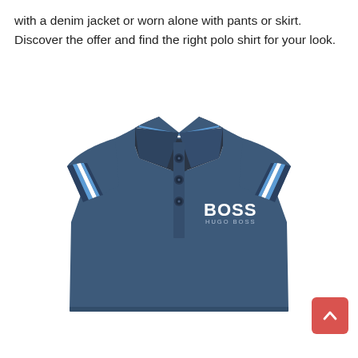with a denim jacket or worn alone with pants or skirt. Discover the offer and find the right polo shirt for your look.
[Figure (photo): A navy blue BOSS Hugo Boss polo shirt with white and blue tipped collar, three front buttons, and BOSS logo embroidered on the left chest. The shirt has short sleeves with matching tipped cuffs.]